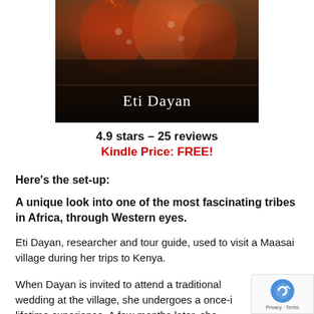[Figure (photo): Book cover showing colorful traditionally dressed African figures (Maasai) in the upper portion, with dark overlay at bottom showing the author name 'Eti Dayan' in white serif text.]
4.9 stars – 25 reviews
Kindle Price: FREE!
Here's the set-up:
A unique look into one of the most fascinating tribes in Africa, through Western eyes.
Eti Dayan, researcher and tour guide, used to visit a Maasai village during her trips to Kenya.
When Dayan is invited to attend a traditional wedding at the village, she undergoes a once-i lifetime experience. A few months later, she